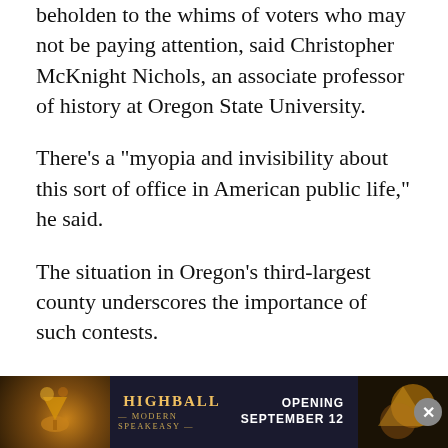beholden to the whims of voters who may not be paying attention, said Christopher McKnight Nichols, an associate professor of history at Oregon State University.
There's a “myopia and invisibility about this sort of office in American public life,” he said.
The situation in Oregon’s third-largest county underscores the importance of such contests.
In the current election, tens of thousands of ballots sent out with blurry barcodes were rejected by a vote-counting machine. The issue affected Democratic and nonpartisan ballots more than Republican ones, state officials have said. The fiasco forced the county to shift nearly 200 county employees to vote tabulation duties; county officials said it was a cleanup job.
[Figure (other): Advertisement banner for Highball Modern Speakeasy. Dark background with cocktail imagery on left and right sides. Center shows 'HIGHBALL MODERN SPEAKEASY' logo. Text reads 'OPENING SEPTEMBER 12'. Close button (X) in bottom right corner.]